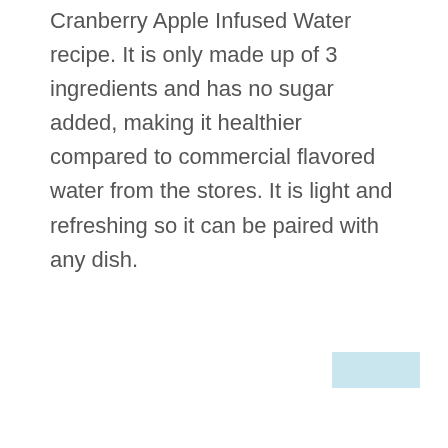Cranberry Apple Infused Water recipe. It is only made up of 3 ingredients and has no sugar added, making it healthier compared to commercial flavored water from the stores. It is light and refreshing so it can be paired with any dish.